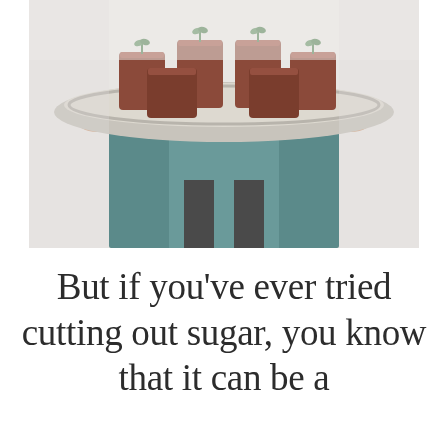[Figure (photo): A person in a teal/blue skirt holding a large round metal tray with multiple glasses filled with a reddish-brown smoothie or drink, garnished with fresh herbs.]
But if you’ve ever tried cutting out sugar, you know that it can be a